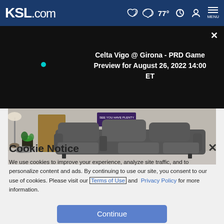KSL.com — 77° weather, search, account, menu
[Figure (screenshot): Black video panel showing 'Celta Vigo @ Girona - PRD Game Preview for August 26, 2022 14:00 ET' with a teal dot and white text, close button top right]
[Figure (photo): Advertisement image showing a gray reclining sofa/couch with decorative furniture and plants in a room setting]
Cookie Notice
We use cookies to improve your experience, analyze site traffic, and to personalize content and ads. By continuing to use our site, you consent to our use of cookies. Please visit our Terms of Use and Privacy Policy for more information.
Continue